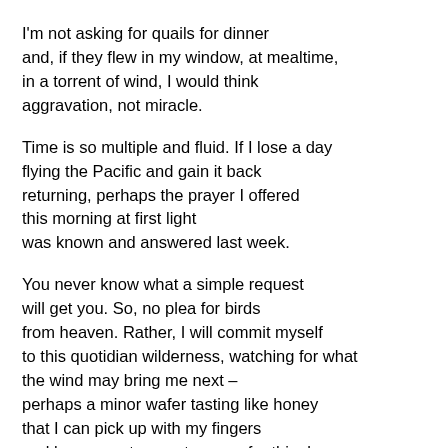I'm not asking for quails for dinner
and, if they flew in my window, at mealtime,
in a torrent of wind, I would think
aggravation, not miracle.
Time is so multiple and fluid. If I lose a day
flying the Pacific and gain it back
returning, perhaps the prayer I offered
this morning at first light
was known and answered last week.
You never know what a simple request
will get you. So, no plea for birds
from heaven. Rather, I will commit myself
to this quotidian wilderness, watching for what
the wind may bring me next –
perhaps a minor wafer tasting like honey
that I can pick up with my fingers
and lay on my tongue to ease, for this day,
my hunger to know.